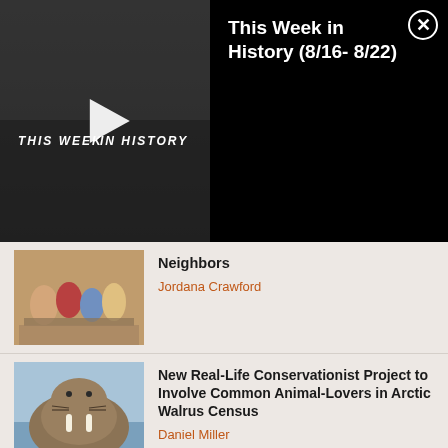[Figure (screenshot): Video overlay showing 'This Week in History' with play button on left thumbnail and title on right black panel with close button]
This Week in History (8/16- 8/22)
Neighbors
Jordana Crawford
New Real-Life Conservationist Project to Involve Common Animal-Lovers in Arctic Walrus Census
Daniel Miller
The Celebration of Education, Behind Bars
Jamie Shore
TRENDING POSTS
Dementia Patient Conducts Symphony Orchestra at Age 81